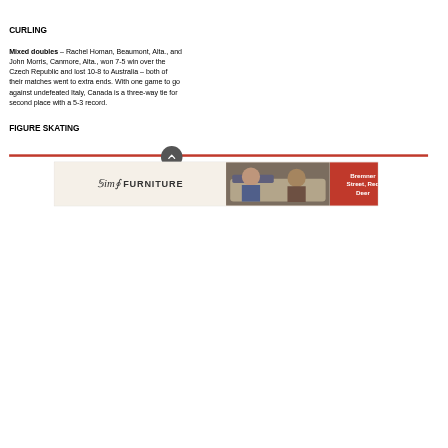CURLING
Mixed doubles – Rachel Homan, Beaumont, Alta., and John Morris, Canmore, Alta., won 7-5 win over the Czech Republic and lost 10-8 to Australia – both of their matches went to extra ends. With one game to go against undefeated Italy, Canada is a three-way tie for second place with a 5-3 record.
FIGURE SKATING
[Figure (other): Sims Furniture advertisement banner with logo, photo of people on a couch, and text 'Bremner Street, Red Deer']